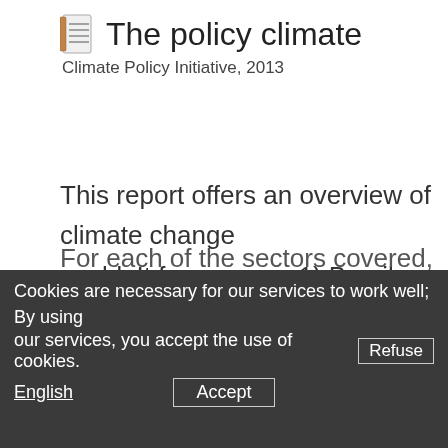The policy climate
Climate Policy Initiative, 2013
This report offers an overview of climate change world. It focuses on: 1) Brazil, China, India, Euro which represent the majority of global greenhouses widely in terms of economic development, natura political system and climate policy; 2) The econo greatest potential for greenhouse gas mitigation; issues within these regions and key sectors that
For each of the sectors covered, the report provi
Cookies are necessary for our services to work well; By using our services, you accept the use of cookies.
Refuse
English
Accept